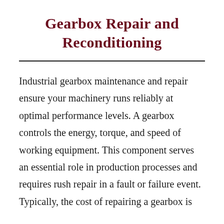Gearbox Repair and Reconditioning
Industrial gearbox maintenance and repair ensure your machinery runs reliably at optimal performance levels. A gearbox controls the energy, torque, and speed of working equipment. This component serves an essential role in production processes and requires rush repair in a fault or failure event. Typically, the cost of repairing a gearbox is